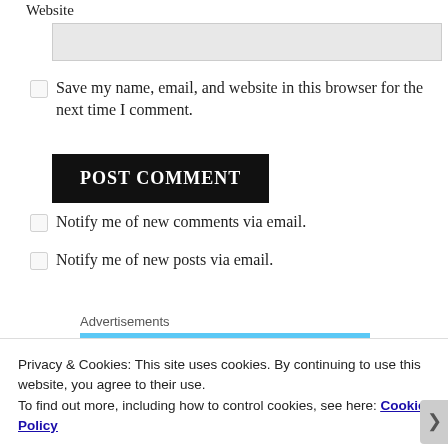Website
Save my name, email, and website in this browser for the next time I comment.
POST COMMENT
Notify me of new comments via email.
Notify me of new posts via email.
Advertisements
Privacy & Cookies: This site uses cookies. By continuing to use this website, you agree to their use.
To find out more, including how to control cookies, see here: Cookie Policy
Close and accept